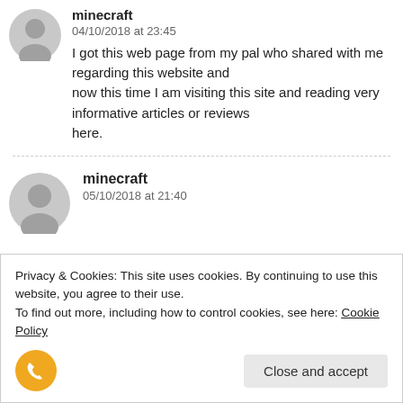minecraft
04/10/2018 at 23:45
I got this web page from my pal who shared with me regarding this website and
now this time I am visiting this site and reading very informative articles or reviews
here.
minecraft
05/10/2018 at 21:40
Privacy & Cookies: This site uses cookies. By continuing to use this website, you agree to their use.
To find out more, including how to control cookies, see here: Cookie Policy